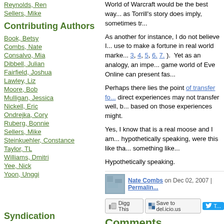Reynolds, Ren
Sellers, Mike
Contributing Authors
Book, Betsy
Combs, Nate
Consalvo, Mia
Dibbell, Julian
Fairfield, Joshua
Lawley, Liz
Moore, Bob
Mulligan, Jessica
Nickell, Eric
Ondrejka, Cory
Ruberg, Bonnie
Sellers, Mike
Steinkuehler, Constance
Taylor, TL
Williams, Dmitri
Yee, Nick
Yoon, Unggi
Syndication
World of Warcraft would be the best way... as Torrill's story does imply, sometimes tr...
As another for instance, I do not believe I... use to make a fortune in real world marke... 3, 4, 5, 6. 7. ). Yet as an analogy, an impe... game world of Eve Online can present fas...
Perhaps there lies the point of transfer fo... direct experiences may not transfer well, b... based on those experiences might.
Yes, I know that is a real moose and I am... hypothetically speaking, were this like tha... something like...
Hypothetically speaking.
Nate Combs on Dec 02, 2007 | Permalink
Comments
1.  In terms of "real world" skills, the comb... comparison to the economic and social ex...
I'd like to think that someone who was ri...